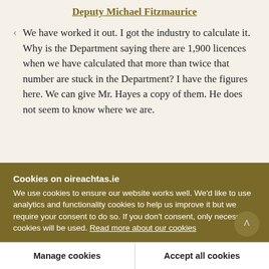Deputy Michael Fitzmaurice
We have worked it out. I got the industry to calculate it. Why is the Department saying there are 1,900 licences when we have calculated that more than twice that number are stuck in the Department? I have the figures here. We can give Mr. Hayes a copy of them. He does not seem to know where we are.
Cookies on oireachtas.ie
We use cookies to ensure our website works well. We'd like to use analytics and functionality cookies to help us improve it but we require your consent to do so. If you don't consent, only necessary cookies will be used. Read more about our cookies
Manage cookies
Accept all cookies